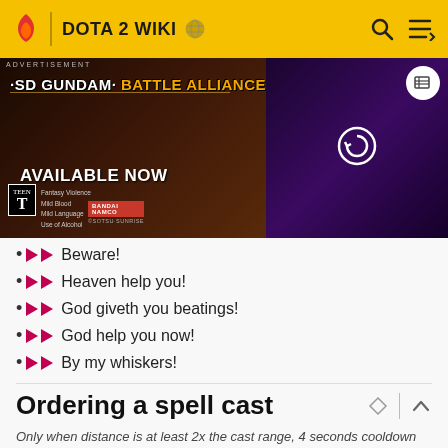DOTA 2 WIKI
[Figure (screenshot): SD Gundam Battle Alliance advertisement banner with 'AVAILABLE NOW' text, ESRB Teen rating, and split gameplay screenshots]
Beware!
Heaven help you!
God giveth you beatings!
God help you now!
By my whiskers!
Ordering a spell cast
Only when distance is at least 2x the cast range, 4 seconds cooldown